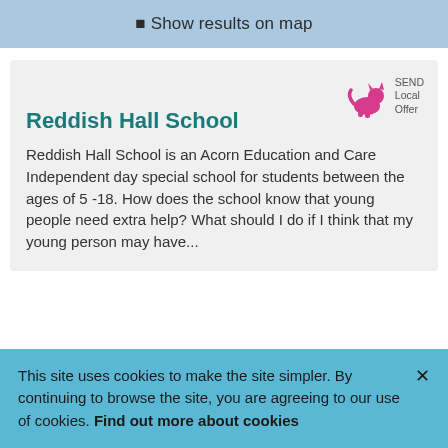Show results on map
[Figure (logo): Pink cat/dog animal logo with 'SEND Local Offer' text]
Reddish Hall School
Reddish Hall School is an Acorn Education and Care Independent day special school for students between the ages of 5 -18. How does the school know that young people need extra help? What should I do if I think that my young person may have...
This site uses cookies to make the site simpler. By continuing to browse the site, you are agreeing to our use of cookies. Find out more about cookies